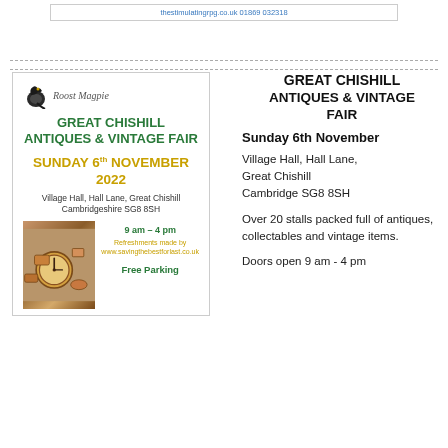thestimulatingrpg.co.uk 01869 032318
GREAT CHISHILL
ANTIQUES & VINTAGE FAIR
[Figure (illustration): Roost Magpie logo with bird silhouette and italic text]
GREAT CHISHILL ANTIQUES & VINTAGE FAIR
SUNDAY 6th NOVEMBER 2022
Village Hall, Hall Lane, Great Chishill Cambridgeshire SG8 8SH
[Figure (photo): Photo of antique clock and collectables on a table]
9 am – 4 pm
Refreshments made by www.savingthebestforlast.co.uk
Free Parking
Sunday 6th November
Village Hall, Hall Lane, Great Chishill Cambridge SG8 8SH
Over 20 stalls packed full of antiques, collectables and vintage items.
Doors open 9 am - 4 pm